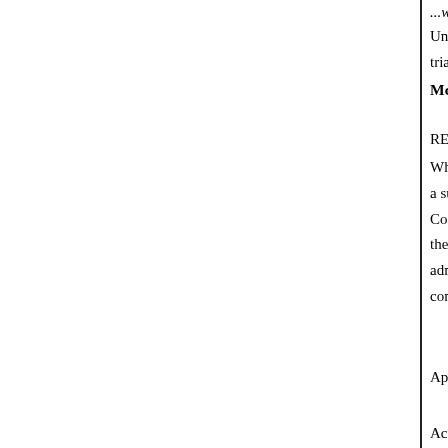...which we have great doubt...
Under the facts shown by the rec... trial. The defendant is in an insa...
McLEMORE et al. v. SEBREE C...
MINING CO. et al. (Court of ... REFUSAL OF ADMINISTRAT...
Where an administrator and one ... a suit for the negligent death, the... Code, s 21, provide that an actio... the benefit of the widow and chi... administrator to settle any claim ... consent of one who should be jo...
[Ed. Note.--For cases in point,... Administrators, $ 1660.]
Appeal from Circuit Court, Web...
"To be officially reported."
Action by Nancy B. McLemore ... a judgment dismissing the petiti...
R. L. Greene, Bourland & Hu... Barker & Barker, and Gordon, G...
SETTLE, J. This action was in...